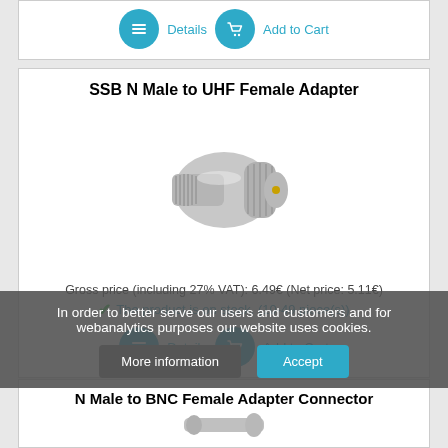[Figure (other): Details and Add to Cart buttons from a previous product listing]
SSB N Male to UHF Female Adapter
[Figure (photo): Silver metal RF adapter connector — N Male to UHF Female]
Gross price (including 27% VAT): 6.49€ (Net price: 5.11€)
✔ The product is on stock. (10-49 piece(s))
[Figure (other): Details and Add to Cart buttons]
In order to better serve our users and customers and for webanalytics purposes our website uses cookies.
N Male to BNC Female Adapter Connector